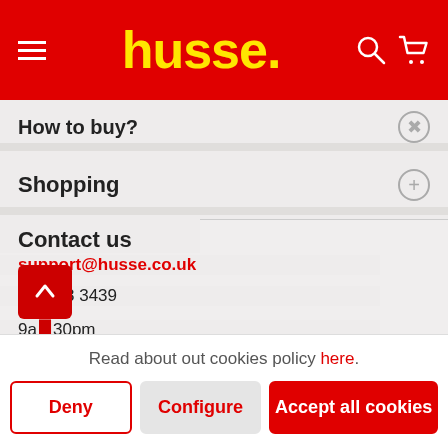husse.
How to buy?
Shopping
Contact us
support@husse.co.uk
01... 8 3439
9a... 30pm
Read about out cookies policy here.
Deny
Configure
Accept all cookies